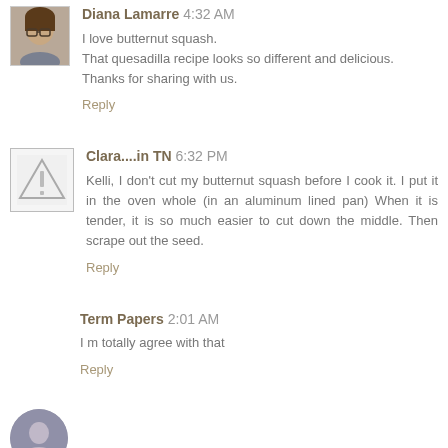Diana Lamarre 4:32 AM
I love butternut squash.
That quesadilla recipe looks so different and delicious.
Thanks for sharing with us.
Reply
Clara....in TN 6:32 PM
Kelli, I don't cut my butternut squash before I cook it. I put it in the oven whole (in an aluminum lined pan) When it is tender, it is so much easier to cut down the middle. Then scrape out the seed.
Reply
Term Papers 2:01 AM
I m totally agree with that
Reply